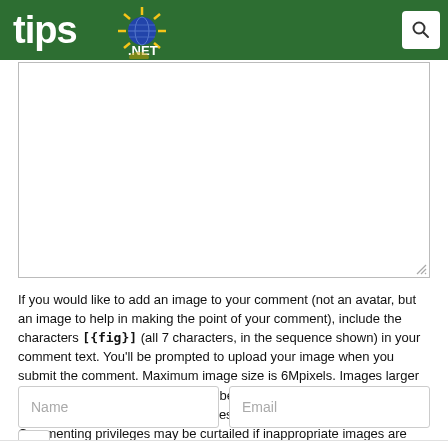tips.NET
[Figure (screenshot): Comment text area input box, empty, with resize handle at bottom-right corner]
If you would like to add an image to your comment (not an avatar, but an image to help in making the point of your comment), include the characters [{fig}] (all 7 characters, in the sequence shown) in your comment text. You'll be prompted to upload your image when you submit the comment. Maximum image size is 6Mpixels. Images larger than 600px wide or 1000px tall will be reduced. Up to three images may be included in a comment. All images are subject to review. Commenting privileges may be curtailed if inappropriate images are posted.
[Figure (screenshot): Name and Email input fields side by side]
[Figure (screenshot): Advertisement banner: Best Teepee Tent For Famil — Shop Teepee & Play Tents at the lowest price in United States from Tiny Land. Tiny Land — with Open button]